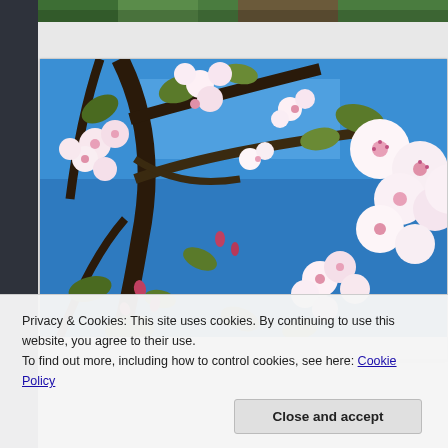[Figure (photo): Partial green/nature photo strip cropped at top of page]
[Figure (photo): Cherry blossom flowers with white and pink petals against a blue sky, branches with green leaves visible]
Privacy & Cookies: This site uses cookies. By continuing to use this website, you agree to their use.
To find out more, including how to control cookies, see here: Cookie Policy
Close and accept